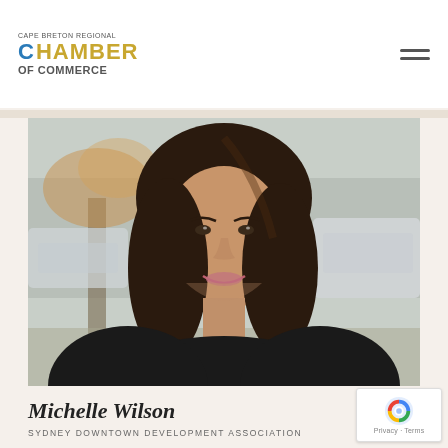CAPE BRETON REGIONAL CHAMBER OF COMMERCE
[Figure (photo): Professional headshot of Michelle Wilson, a woman with long dark hair, smiling, photographed outdoors with blurred cars and trees in background]
Michelle Wilson
SYDNEY DOWNTOWN DEVELOPMENT ASSOCIATION